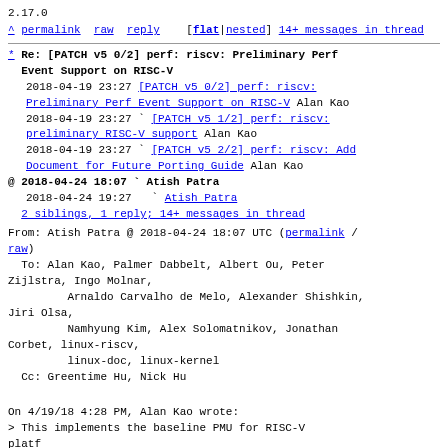2.17.0
^ permalink raw reply [flat|nested] 14+ messages in thread
* Re: [PATCH v5 0/2] perf: riscv: Preliminary Perf Event Support on RISC-V
  2018-04-19 23:27 [PATCH v5 0/2] perf: riscv: Preliminary Perf Event Support on RISC-V Alan Kao
  2018-04-19 23:27 ` [PATCH v5 1/2] perf: riscv: preliminary RISC-V support Alan Kao
  2018-04-19 23:27 ` [PATCH v5 2/2] perf: riscv: Add Document for Future Porting Guide Alan Kao
@ 2018-04-24 18:07 ` Atish Patra
  2018-04-24 19:27   ` Atish Patra
  2 siblings, 1 reply; 14+ messages in thread
From: Atish Patra @ 2018-04-24 18:07 UTC (permalink / raw)
To: Alan Kao, Palmer Dabbelt, Albert Ou, Peter Zijlstra, Ingo Molnar,
        Arnaldo Carvalho de Melo, Alexander Shishkin, Jiri Olsa,
        Namhyung Kim, Alex Solomatnikov, Jonathan Corbet, linux-riscv,
        linux-doc, linux-kernel
  Cc: Greentime Hu, Nick Hu
On 4/19/18 4:28 PM, Alan Kao wrote:
> This implements the baseline PMU for RISC-V
platf